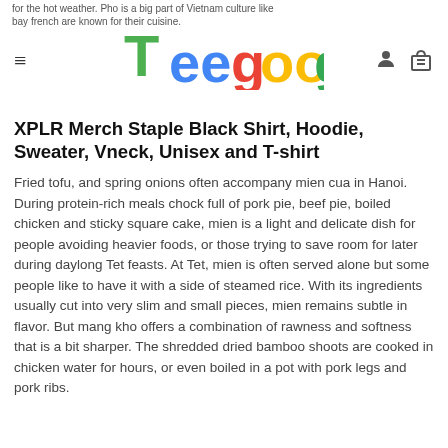Teegoog
XPLR Merch Staple Black Shirt, Hoodie, Sweater, Vneck, Unisex and T-shirt
Fried tofu, and spring onions often accompany mien cua in Hanoi. During protein-rich meals chock full of pork pie, beef pie, boiled chicken and sticky square cake, mien is a light and delicate dish for people avoiding heavier foods, or those trying to save room for later during daylong Tet feasts. At Tet, mien is often served alone but some people like to have it with a side of steamed rice. With its ingredients usually cut into very slim and small pieces, mien remains subtle in flavor. But mang kho offers a combination of rawness and softness that is a bit sharper. The shredded dried bamboo shoots are cooked in chicken water for hours, or even boiled in a pot with pork legs and pork ribs.